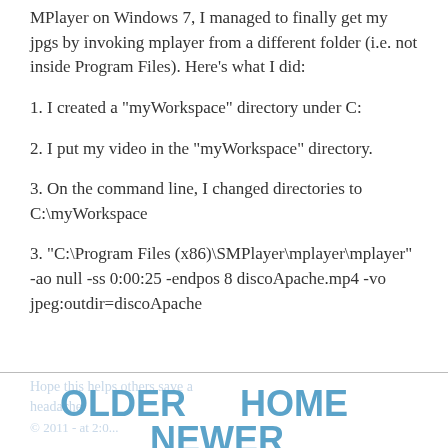MPlayer on Windows 7, I managed to finally get my jpgs by invoking mplayer from a different folder (i.e. not inside Program Files). Here's what I did:
1. I created a "myWorkspace" directory under C:
2. I put my video in the "myWorkspace" directory.
3. On the command line, I changed directories to C:\myWorkspace
3. "C:\Program Files (x86)\SMPlayer\mplayer\mplayer" -ao null -ss 0:00:25 -endpos 8 discoApache.mp4 -vo jpeg:outdir=discoApache
OLDER   HOME   NEWER